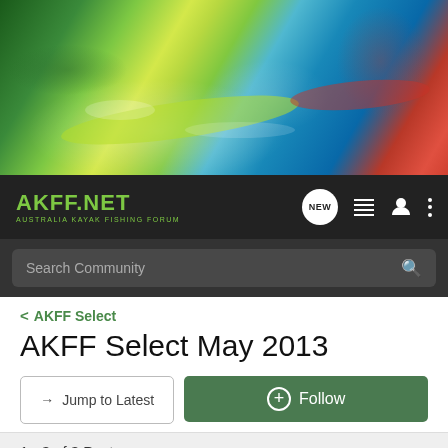[Figure (photo): Hero banner showing kayakers paddling on water with splashing waves. Two kayaks visible — yellow-green and red — with paddlers in action. Bright splash effects.]
AKFF.NET AUSTRALIA KAYAK FISHING FORUM — navigation bar with NEW button, list icon, user icon, and more (three dots) icon
Search Community
< AKFF Select
AKFF Select May 2013
→ Jump to Latest
+ Follow
1 - 3 of 3 Posts
Ado · Registered
Joined Mar 31, 2008 · 8,050 Posts